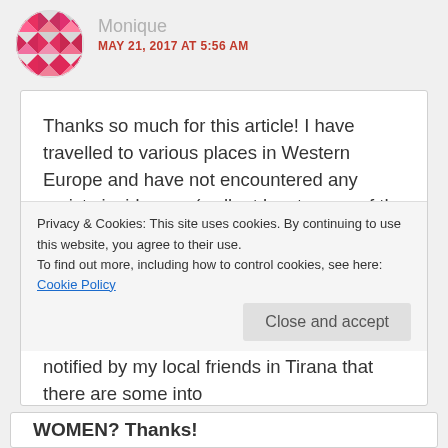[Figure (illustration): Avatar icon — pink and red geometric quilt pattern in a circle]
Monique
MAY 21, 2017 AT 5:56 AM
Thanks so much for this article! I have travelled to various places in Western Europe and have not encountered any racists incidences (well, at least, none of the few negative moments I have had I credited to being racially motivated – perhaps someone else might). Anyway, I have not really ventured into Eastern Europe. I was actually planning a trip to Albania, but was notified by my local friends in Tirana that there are some into
Privacy & Cookies: This site uses cookies. By continuing to use this website, you agree to their use.
To find out more, including how to control cookies, see here: Cookie Policy
Close and accept
WOMEN? Thanks!